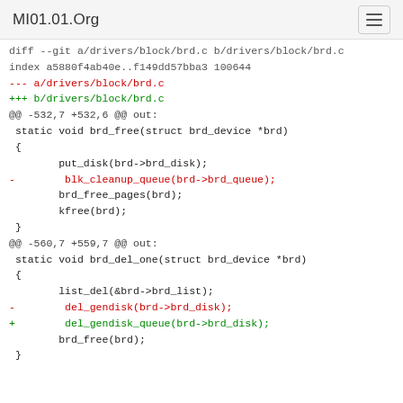MI01.01.Org
diff --git a/drivers/block/brd.c b/drivers/block/brd.c
index a5880f4ab40e..f149dd57bba3 100644
--- a/drivers/block/brd.c
+++ b/drivers/block/brd.c
@@ -532,7 +532,6 @@ out:
 static void brd_free(struct brd_device *brd)
 {
         put_disk(brd->brd_disk);
-        blk_cleanup_queue(brd->brd_queue);
         brd_free_pages(brd);
         kfree(brd);
 }
@@ -560,7 +559,7 @@ out:
 static void brd_del_one(struct brd_device *brd)
 {
         list_del(&brd->brd_list);
-        del_gendisk(brd->brd_disk);
+        del_gendisk_queue(brd->brd_disk);
         brd_free(brd);
 }